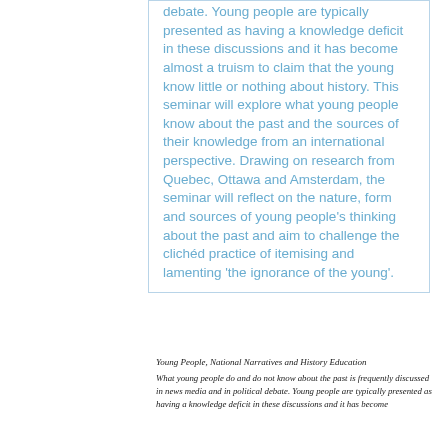debate. Young people are typically presented as having a knowledge deficit in these discussions and it has become almost a truism to claim that the young know little or nothing about history. This seminar will explore what young people know about the past and the sources of their knowledge from an international perspective. Drawing on research from Quebec, Ottawa and Amsterdam, the seminar will reflect on the nature, form and sources of young people's thinking about the past and aim to challenge the clichéd practice of itemising and lamenting 'the ignorance of the young'.
Young People, National Narratives and History Education
What young people do and do not know about the past is frequently discussed in news media and in political debate. Young people are typically presented as having a knowledge deficit in these discussions and it has become